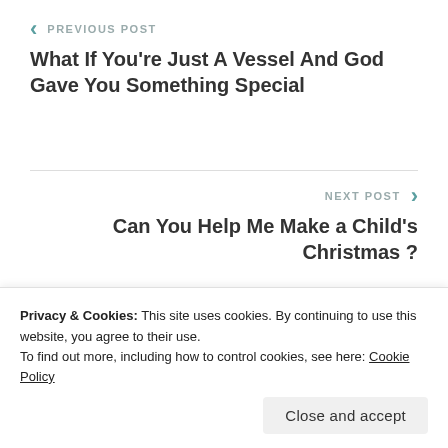< PREVIOUS POST
What If You're Just A Vessel And God Gave You Something Special
NEXT POST >
Can You Help Me Make a Child's Christmas ?
Leave a Reply
Privacy & Cookies: This site uses cookies. By continuing to use this website, you agree to their use.
To find out more, including how to control cookies, see here: Cookie Policy
Close and accept